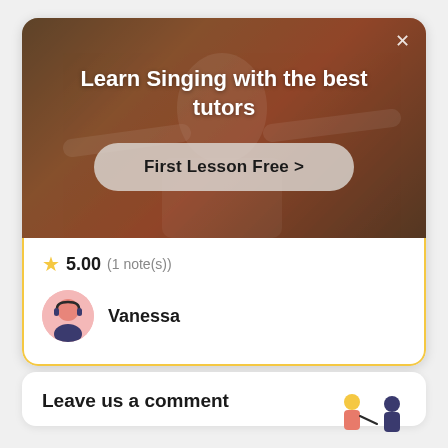[Figure (screenshot): App banner showing a person singing/dancing with overlay text 'Learn Singing with the best tutors' and a 'First Lesson Free >' button]
★ 5.00 (1 note(s))
Vanessa
Leave us a comment